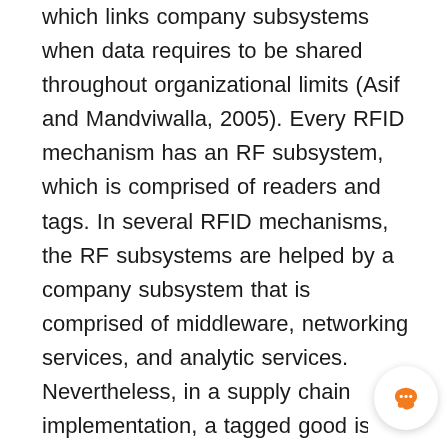which links company subsystems when data requires to be shared throughout organizational limits (Asif and Mandviwalla, 2005). Every RFID mechanism has an RF subsystem, which is comprised of readers and tags. In several RFID mechanisms, the RF subsystems are helped by a company subsystem that is comprised of middleware, networking services, and analytic services. Nevertheless, in a supply chain implementation, a tagged good is monitored throughout its life cycle, from the production to final purchase, and sometimes even ahead (like to help targeted goods recalls or associated service), and therefore its RFID mechanism has to share data throughout organizational limits. Therefore the RFID mechanisms helping supply chain